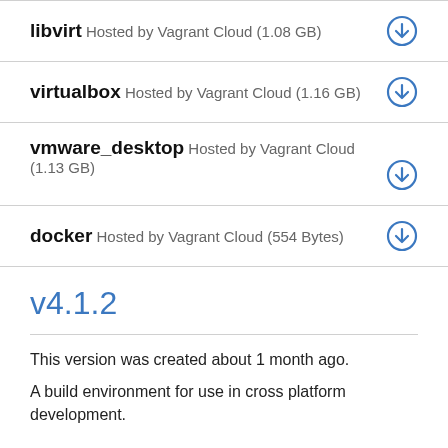libvirt Hosted by Vagrant Cloud (1.08 GB)
virtualbox Hosted by Vagrant Cloud (1.16 GB)
vmware_desktop Hosted by Vagrant Cloud (1.13 GB)
docker Hosted by Vagrant Cloud (554 Bytes)
v4.1.2
This version was created about 1 month ago.
A build environment for use in cross platform development.